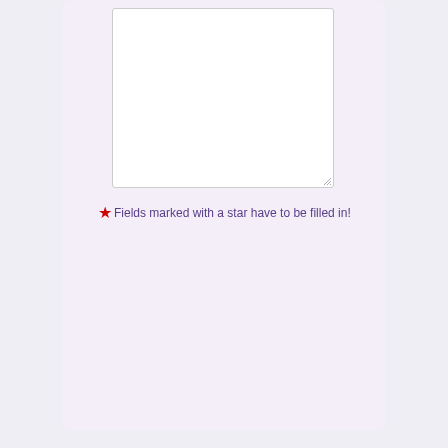[Figure (screenshot): A web form partial view showing a large textarea input field (white, with resize handle), a note with a red star icon saying 'Fields marked with a star have to be filled in!', and a purple 'Send' button. The form is on a light lavender/purple background card.]
Fields marked with a star have to be filled in!
Send